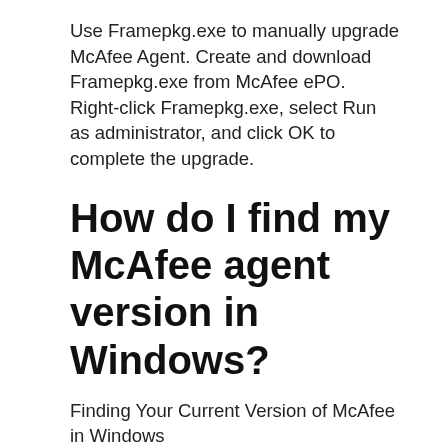Use Framepkg.exe to manually upgrade McAfee Agent. Create and download Framepkg.exe from McAfee ePO. Right-click Framepkg.exe, select Run as administrator, and click OK to complete the upgrade.
How do I find my McAfee agent version in Windows?
Finding Your Current Version of McAfee in Windows
Open the Start Menu.
Select Setttings from the list of applications.
Select Apps.
You will see a list of all the apps installed on your computer. Find